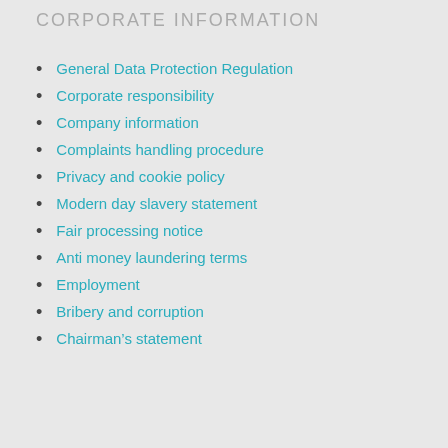CORPORATE INFORMATION
General Data Protection Regulation
Corporate responsibility
Company information
Complaints handling procedure
Privacy and cookie policy
Modern day slavery statement
Fair processing notice
Anti money laundering terms
Employment
Bribery and corruption
Chairman’s statement